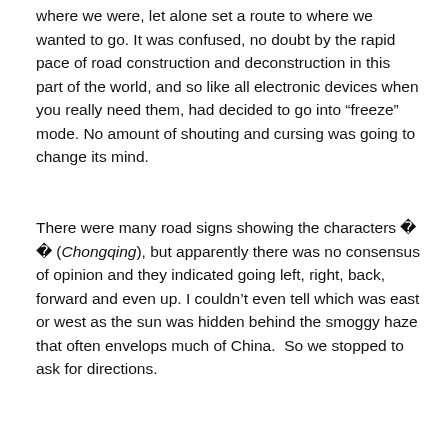where we were, let alone set a route to where we wanted to go. It was confused, no doubt by the rapid pace of road construction and deconstruction in this part of the world, and so like all electronic devices when you really need them, had decided to go into “freeze” mode. No amount of shouting and cursing was going to change its mind.
There were many road signs showing the characters �� (Chongqing), but apparently there was no consensus of opinion and they indicated going left, right, back, forward and even up. I couldn’t even tell which was east or west as the sun was hidden behind the smoggy haze that often envelops much of China. So we stopped to ask for directions.